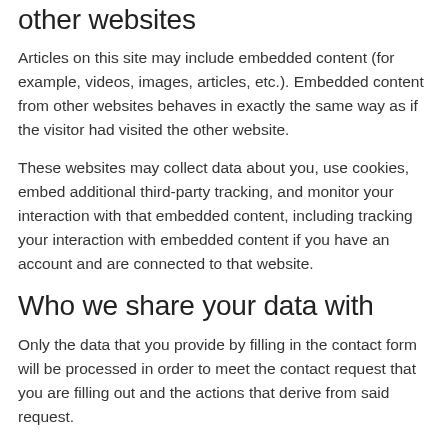other websites
Articles on this site may include embedded content (for example, videos, images, articles, etc.). Embedded content from other websites behaves in exactly the same way as if the visitor had visited the other website.
These websites may collect data about you, use cookies, embed additional third-party tracking, and monitor your interaction with that embedded content, including tracking your interaction with embedded content if you have an account and are connected to that website.
Who we share your data with
Only the data that you provide by filling in the contact form will be processed in order to meet the contact request that you are filling out and the actions that derive from said request.